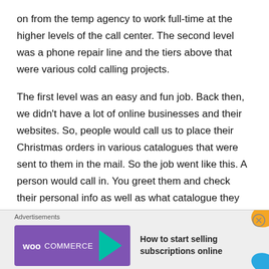on from the temp agency to work full-time at the higher levels of the call center. The second level was a phone repair line and the tiers above that were various cold calling projects.
The first level was an easy and fun job. Back then, we didn't have a lot of online businesses and their websites. So, people would call us to place their Christmas orders in various catalogues that were sent to them in the mail. So the job went like this. A person would call in. You greet them and check their personal info as well as what catalogue they wanted to order from. Then together you flip through the catalogue and
[Figure (other): WooCommerce advertisement banner with text 'How to start selling subscriptions online']